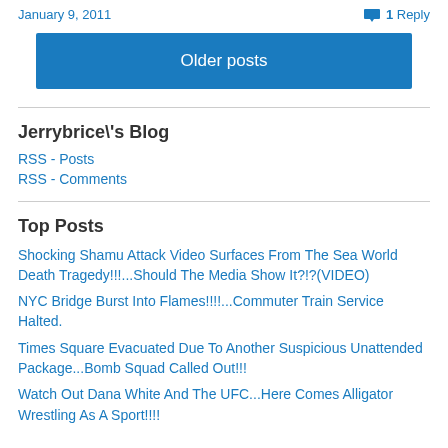January 9, 2011
1 Reply
Older posts
Jerrybrice\'s Blog
RSS - Posts
RSS - Comments
Top Posts
Shocking Shamu Attack Video Surfaces From The Sea World Death Tragedy!!!...Should The Media Show It?!?(VIDEO)
NYC Bridge Burst Into Flames!!!!...Commuter Train Service Halted.
Times Square Evacuated Due To Another Suspicious Unattended Package...Bomb Squad Called Out!!!
Watch Out Dana White And The UFC...Here Comes Alligator Wrestling As A Sport!!!!